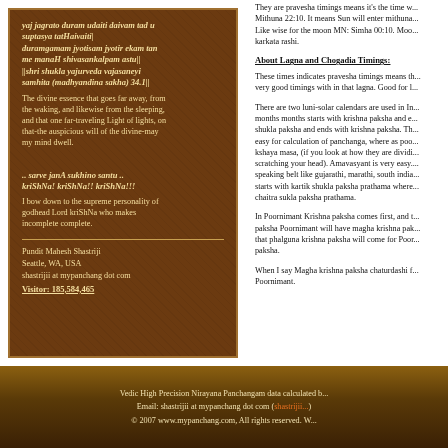They are pravesha timings means it's the time w... Mithuna 22:10. It means Sun will enter mithuna... Like wise for the moon MN: Simha 00:10. Moo... karkata rashi.
About Lagna and Chogadia Timings:
These times indicates pravesha timings means th... very good timings with in that lagna. Good for l...
There are two luni-solar calendars are used in In... months months starts with krishna paksha and e... shukla paksha and ends with krishna paksha. Th... easy for calculation of panchanga, where as poo... kshaya masa, (if you look at how they are dividi... scratching your head). Amavasyant is very easy.... speaking belt like gujarathi, marathi, south india... starts with kartik shukla paksha prathama where... chaitra sukla paksha prathama.
In Poornimant Krishna paksha comes first, and t... paksha Poornimant will have magha krishna pak... that phalguna krishna paksha will come for Poor... paksha.
When I say Magha krishna paksha chaturdashi f... Poornimant.
yaj jagrato duram udaiti daivam tad u suptasya tatHaivaiti|
duramgamam jyotisam jyotir ekam tan me manaH shivasankalpam astu||
||shri shukla yajurveda vajasaneyi samhita (madhyandina sakha) 34.1||
The divine essence that goes far away, from the waking, and likewise from the sleeping, and that one far-traveling Light of lights, on that-the auspicious will of the divine-may my mind dwell.
.. sarve janA sukhino santu ..
kriShNa! kriShNa!! kriShNa!!!
I bow down to the supreme personality of godhead Lord kriShNa who makes incomplete complete.
Pundit Mahesh Shastriji
Seattle, WA, USA
shastrijii at mypanchang dot com
Visitor: 185,584,465
Vedic High Precision Nirayana Panchangam data calculated b...
Email: shastrijii at mypanchang dot com (shastrijii...)
© 2007 www.mypanchang.com, All rights reserved. W...